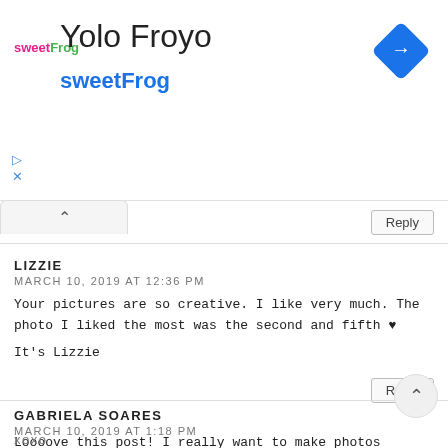[Figure (logo): sweetFrog logo - pink 'sweet' and green 'Frog' text]
Yolo Froyo
sweetFrog
[Figure (other): Blue diamond navigation/directions icon with white arrow]
Reply
LIZZIE
MARCH 10, 2019 AT 12:36 PM
Your pictures are so creative. I like very much. The photo I liked the most was the second and fifth ♥
It's Lizzie
Reply
GABRIELA SOARES
MARCH 10, 2019 AT 1:18 PM
Loooove this post! I really want to make photos at a tennis court one day <3
xoxo